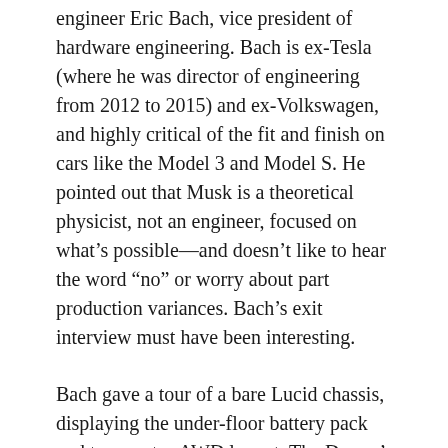engineer Eric Bach, vice president of hardware engineering. Bach is ex-Tesla (where he was director of engineering from 2012 to 2015) and ex-Volkswagen, and highly critical of the fit and finish on cars like the Model 3 and Model S. He pointed out that Musk is a theoretical physicist, not an engineer, focused on what’s possible—and doesn’t like to hear the word “no” or worry about part production variances. Bach’s exit interview must have been interesting.
Bach gave a tour of a bare Lucid chassis, displaying the under-floor battery pack and two-motor AWD layout. The Dream’s liquid-cooled pack operates at 924 volts and uses 22 modules (the company’s own, but with LG Chem cells) with slightly more than five kilowatt-hours each, for a total of 113 kWh. Is it bigger than anything in the Model S? Yes.